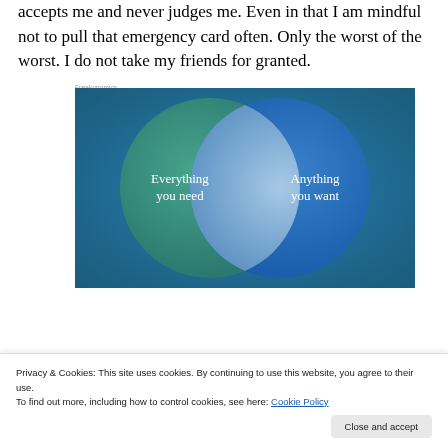accepts me and never judges me. Even in that I am mindful not to pull that emergency card often. Only the worst of the worst. I do not take my friends for granted.
[Figure (infographic): Venn diagram with two overlapping circles on a blue-green gradient background. Left circle (teal/green) labeled 'Everything you need'. Right circle (blue) labeled 'Anything you want'. The overlapping area is a lighter blue-white lens shape. Small text above reads 'Freakonomics'.]
Privacy & Cookies: This site uses cookies. By continuing to use this website, you agree to their use.
To find out more, including how to control cookies, see here: Cookie Policy
Close and accept